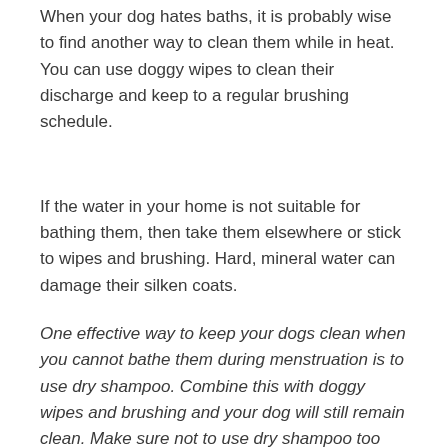When your dog hates baths, it is probably wise to find another way to clean them while in heat. You can use doggy wipes to clean their discharge and keep to a regular brushing schedule.
If the water in your home is not suitable for bathing them, then take them elsewhere or stick to wipes and brushing. Hard, mineral water can damage their silken coats.
One effective way to keep your dogs clean when you cannot bathe them during menstruation is to use dry shampoo. Combine this with doggy wipes and brushing and your dog will still remain clean. Make sure not to use dry shampoo too often or the hair might dry out.
Your Shih Tzu's health matters. Make sure to bathe her if